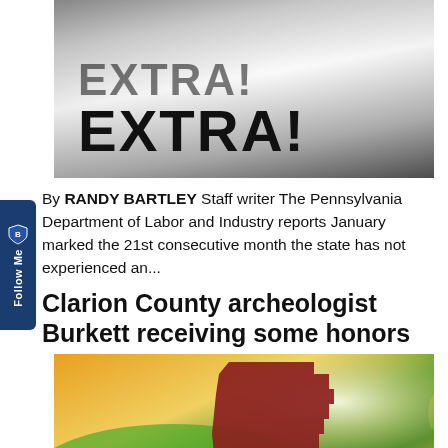[Figure (photo): Newspaper with 'EXTRA! EXTRA!' headline in bold black text on white background, dramatic dark vignette]
By RANDY BARTLEY Staff writer The Pennsylvania Department of Labor and Industry reports January marked the 21st consecutive month the state has not experienced an...
Clarion County archeologist Burkett receiving some honors
[Figure (illustration): Illustration of Clarion County Pennsylvania map shape in dark red/brown overlaid on a sunny green field background with leaf watermarks. The word 'Clarion' in white italic script with underline appears on the map shape.]